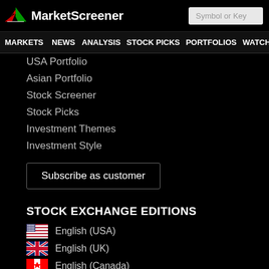MarketScreener
MARKETS NEWS ANALYSIS STOCK PICKS PORTFOLIOS WATCHLI
USA Portfolio
Asian Portfolio
Stock Screener
Stock Picks
Investment Themes
Investment Style
Subscribe as customer
STOCK EXCHANGE EDITIONS
English (USA)
English (UK)
English (Canada)
Deutsch (Deutschland)